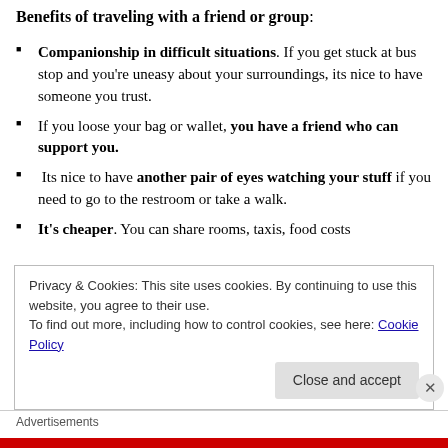Benefits of traveling with a friend or group:
Companionship in difficult situations. If you get stuck at bus stop and you're uneasy about your surroundings, its nice to have someone you trust.
If you loose your bag or wallet, you have a friend who can support you.
Its nice to have another pair of eyes watching your stuff if you need to go to the restroom or take a walk.
It's cheaper. You can share rooms, taxis, food costs
Privacy & Cookies: This site uses cookies. By continuing to use this website, you agree to their use. To find out more, including how to control cookies, see here: Cookie Policy
Advertisements